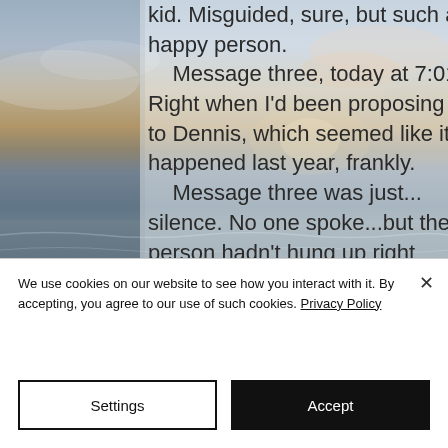[Figure (photo): Ocean and sky background image with clouds and sunset colors, partially obscured by semi-transparent overlay panel containing book excerpt text]
kid. Misguided, sure, but such a happy person. Message three, today at 7:01. Right when I'd been proposing to Dennis, which seemed like it happened last year, frankly. Message three was just... silence. No one spoke...but the person hadn't hung up right away, either. For a second, my heart shivered, and I stood there, frozen
We use cookies on our website to see how you interact with it. By accepting, you agree to our use of such cookies. Privacy Policy